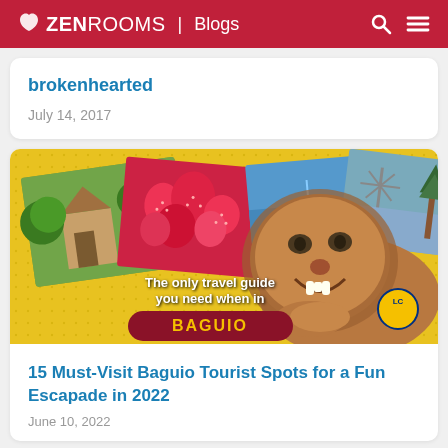ZEN ROOMS | Blogs
brokenhearted
July 14, 2017
[Figure (photo): Travel guide promotional image for Baguio featuring a lion statue, strawberries, boats on a lake, and scenic views. Text reads: The only travel guide you need when in BAGUIO]
15 Must-Visit Baguio Tourist Spots for a Fun Escapade in 2022
June 10, 2022